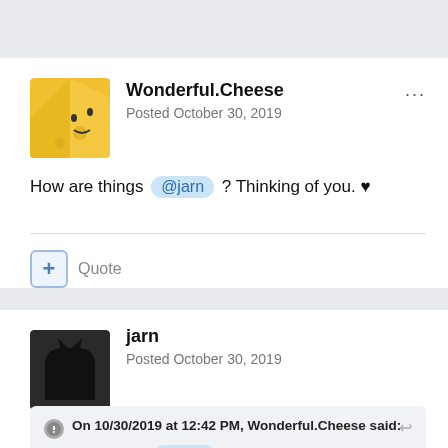[Figure (screenshot): Top navigation bar area, light gray background]
Wonderful.Cheese
Posted October 30, 2019
How are things @jarn ? Thinking of you. ♥
+ Quote
jarn
Posted October 30, 2019
On 10/30/2019 at 12:42 PM, Wonderful.Cheese said:
How are things @jarn ? Thinking of you. ♥